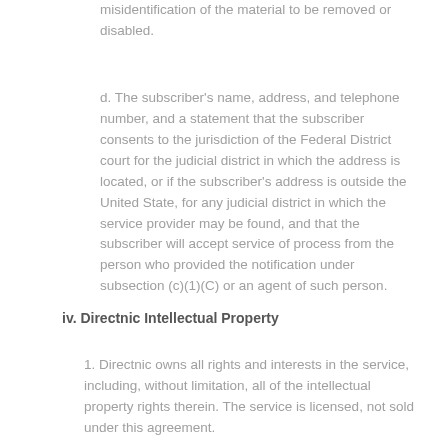misidentification of the material to be removed or disabled.
d. The subscriber's name, address, and telephone number, and a statement that the subscriber consents to the jurisdiction of the Federal District court for the judicial district in which the address is located, or if the subscriber's address is outside the United State, for any judicial district in which the service provider may be found, and that the subscriber will accept service of process from the person who provided the notification under subsection (c)(1)(C) or an agent of such person.
iv. Directnic Intellectual Property
1. Directnic owns all rights and interests in the service, including, without limitation, all of the intellectual property rights therein. The service is licensed, not sold under this agreement.